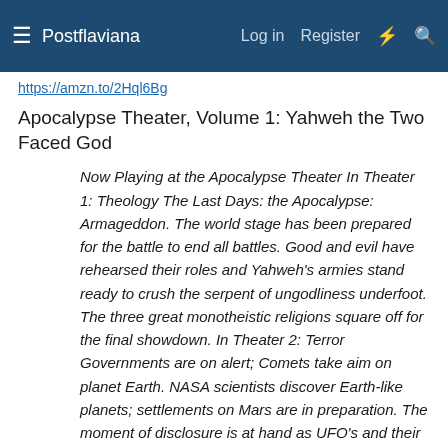Postflaviana  Log in  Register
https://amzn.to/2Hql6Bg
Apocalypse Theater, Volume 1: Yahweh the Two Faced God
Now Playing at the Apocalypse Theater In Theater 1: Theology The Last Days: the Apocalypse: Armageddon. The world stage has been prepared for the battle to end all battles. Good and evil have rehearsed their roles and Yahweh's armies stand ready to crush the serpent of ungodliness underfoot. The three great monotheistic religions square off for the final showdown. In Theater 2: Terror Governments are on alert; Comets take aim on planet Earth. NASA scientists discover Earth-like planets; settlements on Mars are in preparation. The moment of disclosure is at hand as UFO's and their previously unseen alien life forms take center stage before the curtain drops on mankind. In Theater 3: Truth and the Topological Metaphor Oxford educated authors and researchers, Drs Joseph P. Farrell and Scott D de Hart